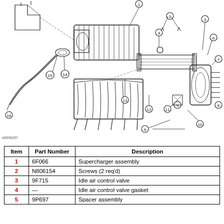[Figure (engineering-diagram): Exploded view engineering diagram of a supercharger assembly with numbered callouts (1–16). Shows supercharger, intake manifold, intercooler tube, idle air control valve, spacer, screws, and various hoses and fittings. Part numbers labeled A0058357 at bottom left.]
| Item | Part Number | Description |
| --- | --- | --- |
| 1 | 6F066 | Supercharger assembly |
| 2 | N806154 | Screws (2 req'd) |
| 3 | 9F715 | Idle air control valve |
| 4 | — | Idle air control valve gasket |
| 5 | 9P697 | Spacer assembly |